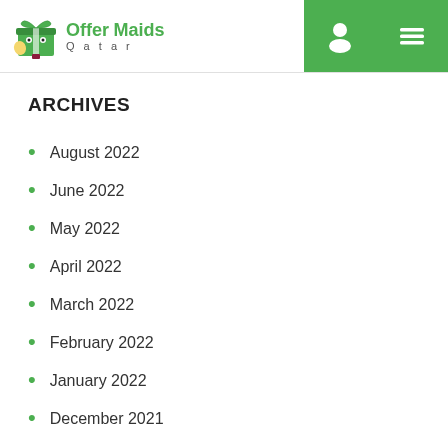Offer Maids Qatar
ARCHIVES
August 2022
June 2022
May 2022
April 2022
March 2022
February 2022
January 2022
December 2021
November 2021